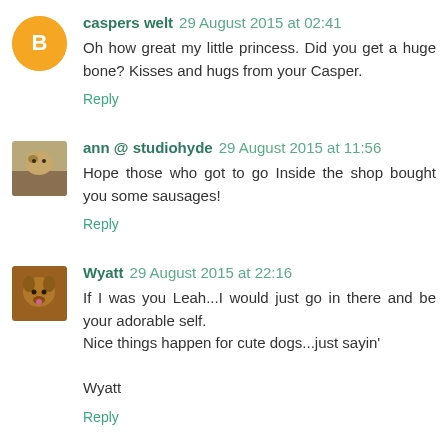caspers welt 29 August 2015 at 02:41
Oh how great my little princess. Did you get a huge bone? Kisses and hugs from your Casper.
Reply
ann @ studiohyde 29 August 2015 at 11:56
Hope those who got to go Inside the shop bought you some sausages!
Reply
Wyatt 29 August 2015 at 22:16
If I was you Leah...I would just go in there and be your adorable self.
Nice things happen for cute dogs...just sayin'
Wyatt
Reply